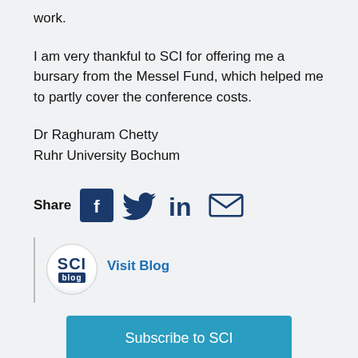work.
I am very thankful to SCI for offering me a bursary from the Messel Fund, which helped me to partly cover the conference costs.
Dr Raghuram Chetty
Ruhr University Bochum
[Figure (infographic): Share icons row: Share label followed by Facebook, Twitter, LinkedIn, and Email icons in dark navy blue]
[Figure (logo): SCI blog logo (circular) next to Visit Blog link text]
Subscribe to SCI
[Figure (other): Partially visible teal button at bottom of page]